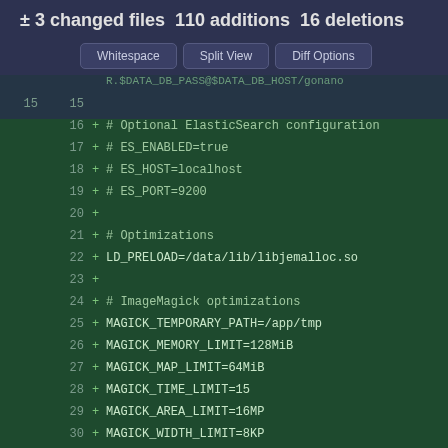± 3 changed files 110 additions 16 deletions
Whitespace  Split View  Diff Options
[Figure (screenshot): Code diff showing added lines 16-31 with environment variable configuration including ElasticSearch settings, Optimizations with LD_PRELOAD, and ImageMagick settings (MAGICK_TEMPORARY_PATH, MAGICK_MEMORY_LIMIT, MAGICK_MAP_LIMIT, MAGICK_TIME_LIMIT, MAGICK_AREA_LIMIT, MAGICK_WIDTH_LIMIT, MAGICK_HEIGHT_LIMIT)]